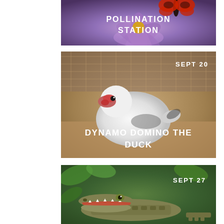[Figure (photo): Butterfly on purple flower with text overlay 'POLLINATION STATION']
[Figure (photo): White Muscovy duck sitting on ground with text overlay 'SEPT 20' and 'DYNAMO DOMINO THE DUCK']
[Figure (photo): Young alligator with open mouth with text overlay 'SEPT 27']